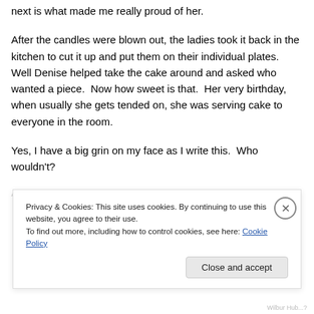next is what made me really proud of her.
After the candles were blown out, the ladies took it back in the kitchen to cut it up and put them on their individual plates.  Well Denise helped take the cake around and asked who wanted a piece.  Now how sweet is that.  Her very birthday, when usually she gets tended on, she was serving cake to everyone in the room.
Yes, I have a big grin on my face as I write this.  Who wouldn't?
A more...
Privacy & Cookies: This site uses cookies. By continuing to use this website, you agree to their use.
To find out more, including how to control cookies, see here: Cookie Policy
Close and accept